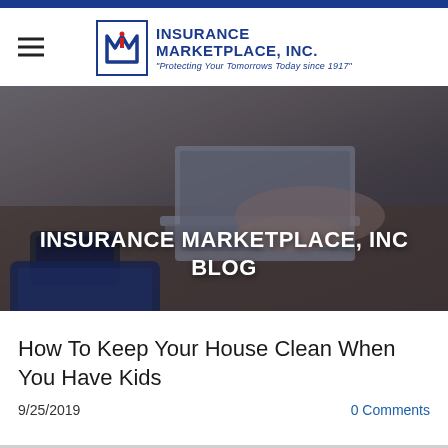Insurance Marketplace, Inc. — INSURANCE MARKETPLACE, INC. — Protecting Your Tomorrows Today since 1917
[Figure (photo): Hero banner photo showing hands typing on a laptop on a desk with a phone and tablet visible, overlaid with dark blue tint]
INSURANCE MARKETPLACE, INC BLOG
How To Keep Your House Clean When You Have Kids
9/25/2019
0 Comments